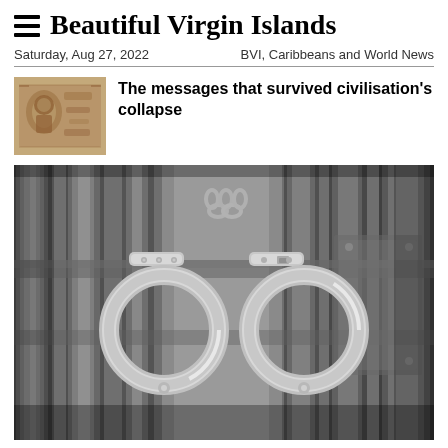Beautiful Virgin Islands
Saturday, Aug 27, 2022    BVI, Caribbeans and World News
The messages that survived civilisation's collapse
[Figure (photo): Black and white photo of open handcuffs hanging on jail cell bars]
[Figure (photo): Thumbnail image of ancient carved stone relief]